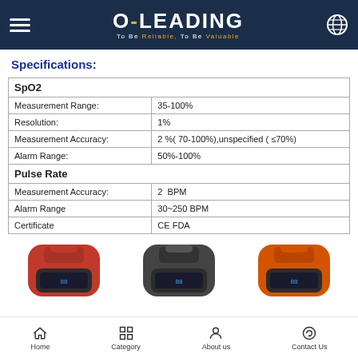O-LEADING — To Be Reliable, To Be Valuable
Specifications:
| SpO2 |  |
| Measurement Range: | 35-100% |
| Resolution: | 1% |
| Measurement Accuracy: | 2 %( 70-100%),unspecified ( ≤70%) |
| Alarm Range: | 50%-100% |
| Pulse Rate |  |
| Measurement Accuracy: | 2  BPM |
| Alarm Range | 30~250 BPM |
| Certificate | CE FDA |
[Figure (photo): Three pulse oximeter devices in red, dark gray, and orange colors displayed side by side]
Home | Category | About us | Contact Us